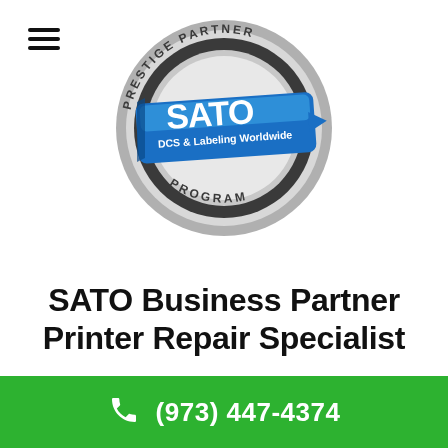[Figure (logo): SATO Prestige Partner Program badge — a circular silver/grey medallion with 'PRESTIGE PARTNER' arced at top and 'PROGRAM' arced at bottom, with a blue 3D banner across the center reading 'SATO DCS & Labeling Worldwide']
SATO Business Partner Printer Repair Specialist
(973) 447-4374